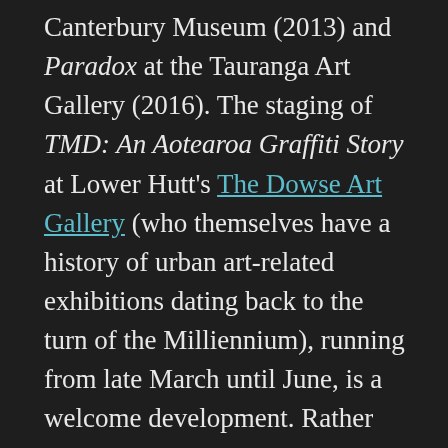Canterbury Museum (2013) and Paradox at the Tauranga Art Gallery (2016). The staging of TMD: An Aotearoa Graffiti Story at Lower Hutt's The Dowse Art Gallery (who themselves have a history of urban art-related exhibitions dating back to the turn of the Milliennium), running from late March until June, is a welcome development. Rather than attempting to present a more generic survey or a one person show, the exhibition considers the broader cultural movement of graffiti within the tighter focus of the TMD crew while still spanning styles and historical narratives; contextualising both the roots of the TMD crew within the setting of mid-90s and early 2000s Auckland, and their current exploits, successfully